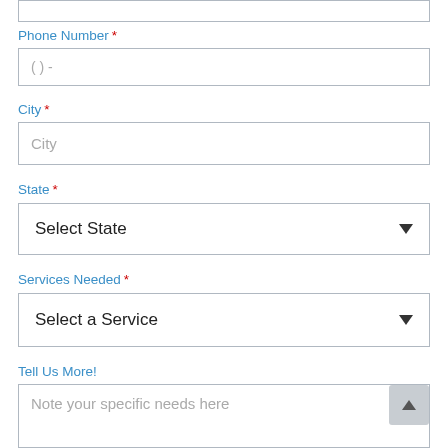Phone Number *
( )  -
City *
City
State *
Select State
Services Needed *
Select a Service
Tell Us More!
Note your specific needs here